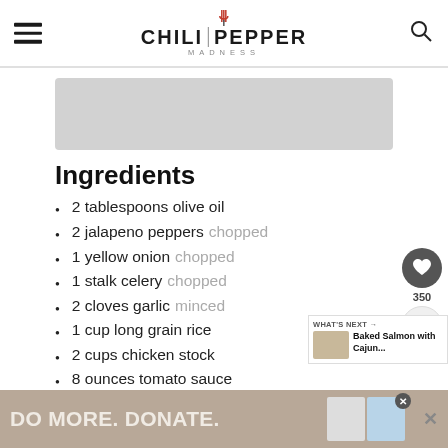CHILI PEPPER MADNESS
Ingredients
2 tablespoons olive oil
2 jalapeno peppers chopped
1 yellow onion chopped
1 stalk celery chopped
2 cloves garlic minced
1 cup long grain rice
2 cups chicken stock
8 ounces tomato sauce
2 tablespoons Cajun seasonings
WHAT'S NEXT → Baked Salmon with Cajun...
DO MORE. DONATE.